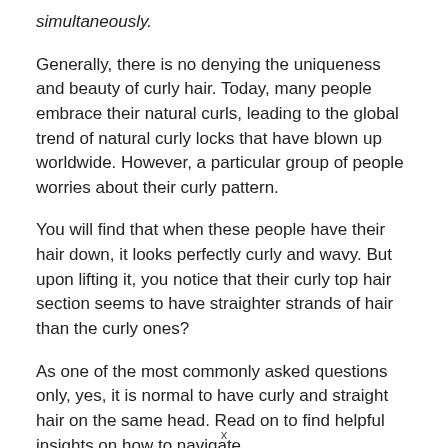simultaneously.
Generally, there is no denying the uniqueness and beauty of curly hair. Today, many people embrace their natural curls, leading to the global trend of natural curly locks that have blown up worldwide. However, a particular group of people worries about their curly pattern.
You will find that when these people have their hair down, it looks perfectly curly and wavy. But upon lifting it, you notice that their curly top hair section seems to have straighter strands of hair than the curly ones?
As one of the most commonly asked questions only, yes, it is normal to have curly and straight hair on the same head. Read on to find helpful insights on how to navigate
x